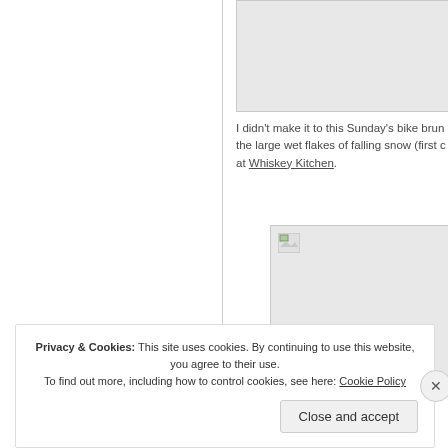[Figure (screenshot): Partially visible image placeholder (grey box) in top right area]
I didn't make it to this Sunday's bike brun the large wet flakes of falling snow (first c at Whiskey Kitchen.
[Figure (screenshot): Partially visible image placeholder (grey box) with broken image icon in lower right area]
Privacy & Cookies: This site uses cookies. By continuing to use this website, you agree to their use.
To find out more, including how to control cookies, see here: Cookie Policy
Close and accept